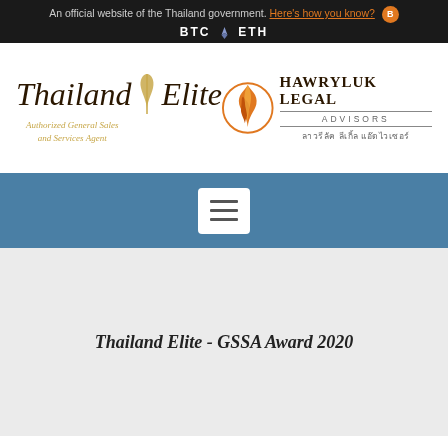An official website of the Thailand government. Here's how you know? BTC ETH
[Figure (logo): Thailand Elite logo - Authorized General Sales and Services Agent]
[Figure (logo): Hawryluk Legal Advisors logo with flame icon and Thai text]
[Figure (other): Navigation hamburger menu button on blue background]
Thailand Elite - GSSA Award 2020